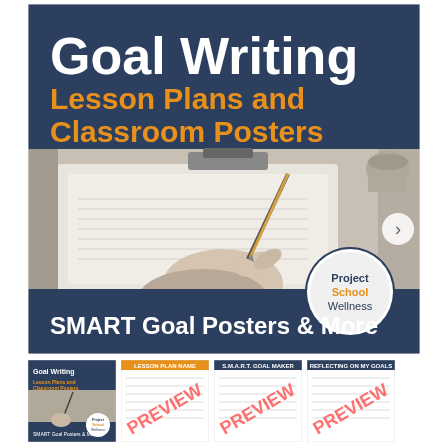[Figure (illustration): Main product cover image for 'Goal Writing Lesson Plans and Classroom Posters' by Project School Wellness. Dark navy banner at top with white text 'Goal Writing' and orange text 'Lesson Plans and Classroom Posters'. Photo of a person writing with a pencil on paper. Bottom navy banner with white text 'SMART Goal Posters & More'. Project School Wellness logo in a circle at bottom right.]
[Figure (illustration): Thumbnail 1: Cover image of Goal Writing Lesson Plans and Classroom Posters product]
[Figure (illustration): Thumbnail 2: Preview page with PREVIEW watermark stamp]
[Figure (illustration): Thumbnail 3: Preview page with PREVIEW watermark stamp]
[Figure (illustration): Thumbnail 4: Preview page with PREVIEW watermark stamp]